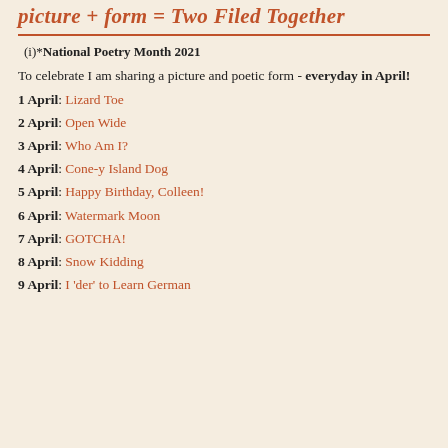picture + form = Two Filed Together
(i)*National Poetry Month 2021
To celebrate I am sharing a picture and poetic form - everyday in April!
1 April: Lizard Toe
2 April: Open Wide
3 April: Who Am I?
4 April: Cone-y Island Dog
5 April: Happy Birthday, Colleen!
6 April: Watermark Moon
7 April: GOTCHA!
8 April: Snow Kidding
9 April: I 'der' to Learn German